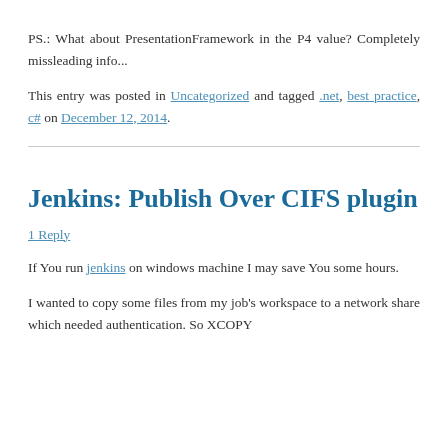PS.: What about PresentationFramework in the P4 value? Completely missleading info...
This entry was posted in Uncategorized and tagged .net, best practice, c# on December 12, 2014.
Jenkins: Publish Over CIFS plugin
1 Reply
If You run jenkins on windows machine I may save You some hours.
I wanted to copy some files from my job's workspace to a network share which needed authentication. So XCOPY